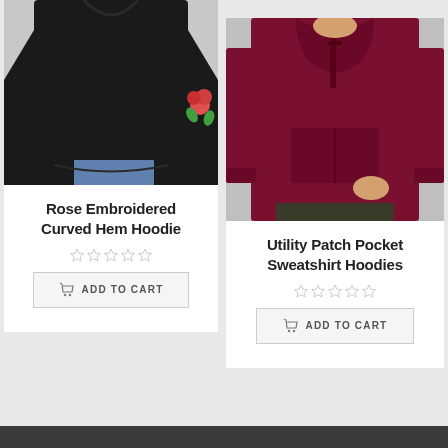[Figure (photo): Black hoodie with rose embroidery on sleeve, worn by male model, white/grey background]
Rose Embroidered Curved Hem Hoodie
[Figure (other): 5 empty/grey star rating icons]
ADD TO CART
[Figure (photo): Maroon/burgundy utility patch pocket sweatshirt hoodie worn by male model, grey background]
Utility Patch Pocket Sweatshirt Hoodies
[Figure (other): 5 empty/grey star rating icons]
ADD TO CART